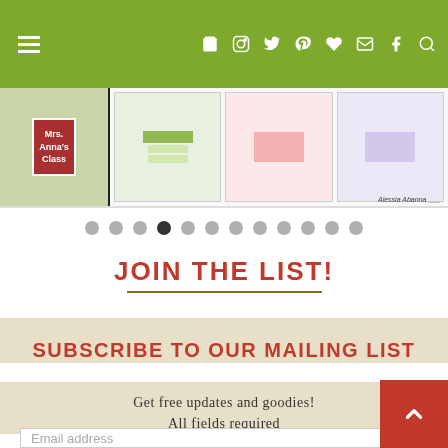[Figure (screenshot): Green navigation bar with hamburger menu icon on left and social media icons (cart, instagram, twitter, pinterest, heart, email, facebook, search) on right, in white on green background]
[Figure (screenshot): Slideshow image showing educational classroom materials including a binder/folder on left and colorful worksheet pages on right, with author signature at bottom right]
[Figure (other): Dot navigation row with 12 dots, the 4th dot is active/dark, rest are grey]
JOIN THE LIST!
SUBSCRIBE TO OUR MAILING LIST
Get free updates and goodies!
All fields required
[Figure (screenshot): Email address input field placeholder text]